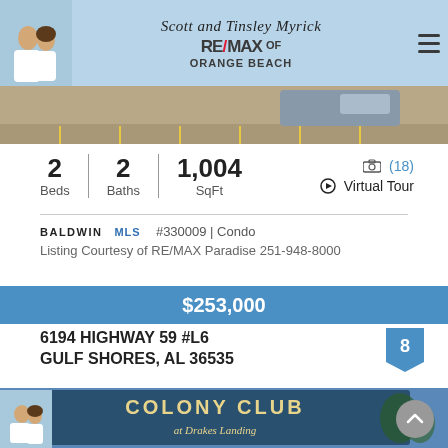[Figure (photo): Header banner with Scott and Tinsley Myrick RE/MAX of Orange Beach branding, photo of couple, parking lot background]
[Figure (photo): Property image strip showing parking lot with yellow lines]
2 Beds | 2 Baths | 1,004 SqFt | 📷 (18) | Virtual Tour
BALDWIN MLS | #330009 | Condo
Listing Courtesy of RE/MAX Paradise 251-948-8000
$253,000
6194 HIGHWAY 59 #L6
GULF SHORES, AL 36535
[Figure (photo): Colony Club at Drakes Landing sign photo]